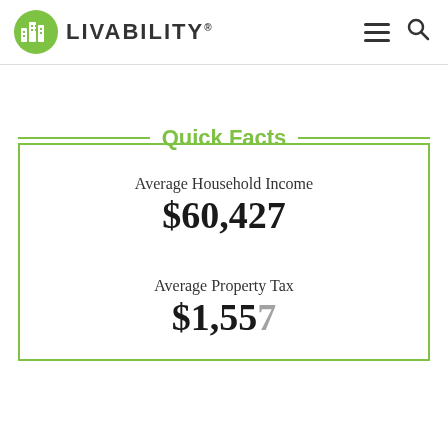LIVABILITY
Quick Facts
Average Household Income
$60,427
Average Property Tax
$1,557